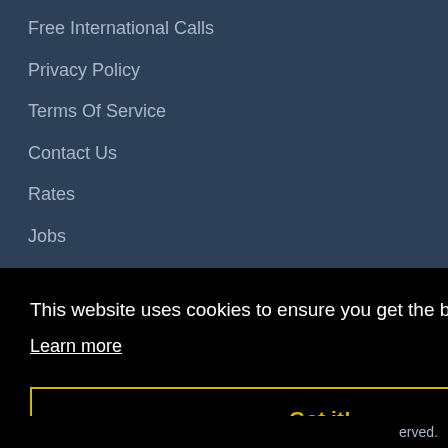Free International Calls
Privacy Policy
Terms Of Service
Contact Us
Rates
Jobs
Site Navigation
International Calling Guide
Countries
This website uses cookies to ensure you get the best experience on our website.
Learn more
Got it!
erved.